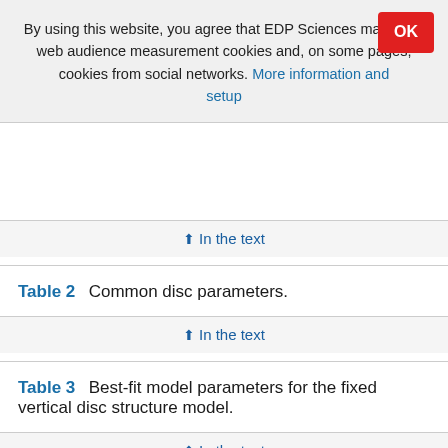By using this website, you agree that EDP Sciences may store web audience measurement cookies and, on some pages, cookies from social networks. More information and setup
↑ In the text
Table 2   Common disc parameters.
↑ In the text
Table 3   Best-fit model parameters for the fixed vertical disc structure model.
↑ In the text
Table 4   Model parameters and line fluxes with 3 σ upper limits.